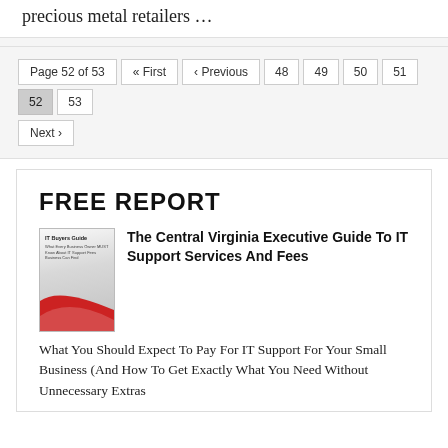precious metal retailers …
Page 52 of 53  « First  ‹ Previous  48  49  50  51  52  53  Next ›
FREE REPORT
The Central Virginia Executive Guide To IT Support Services And Fees
What You Should Expect To Pay For IT Support For Your Small Business (And How To Get Exactly What You Need Without Unnecessary Extras